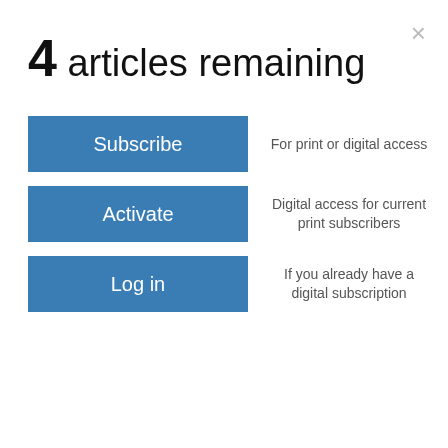4 articles remaining
Subscribe
For print or digital access
Activate
Digital access for current print subscribers
Log in
If you already have a digital subscription
Muscatine tournament
Andy Krutsinger
volleyball
Andy Krutsinger
SPORTS 2h ago
View store hours, get directions, or call your salon!